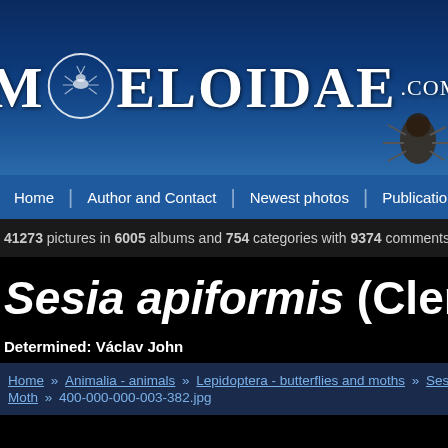[Figure (logo): Meloidae.com website header logo with white serif text on dark blue gradient background, featuring a circular emblem with insect illustration]
Home | Author and Contact | Newest photos | Publications | R
41273 pictures in 6005 albums and 754 categories with 9374 comments viewed
Sesia apiformis (Clerck,
Determined: Václav John
Home » Animalia - animals » Lepidoptera - butterflies and moths » Sesiidae Moth » 400-000-000-003-382.jpg